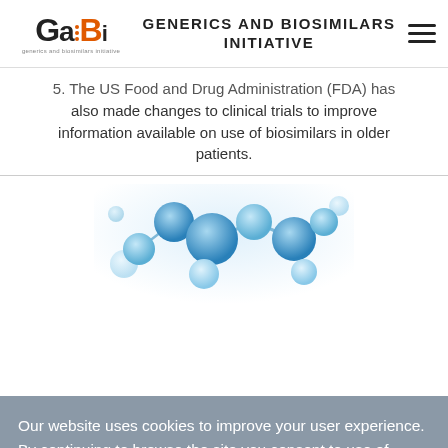GENERICS AND BIOSIMILARS INITIATIVE
5. The US Food and Drug Administration (FDA) has also made changes to clinical trials to improve information available on use of biosimilars in older patients.
[Figure (photo): Blue molecular structure / chemistry molecules illustration on white background]
Our website uses cookies to improve your user experience. By continuing to browse the site you consent to use of cookies.
YES, I AGREE
drugs from Rani and Progenity